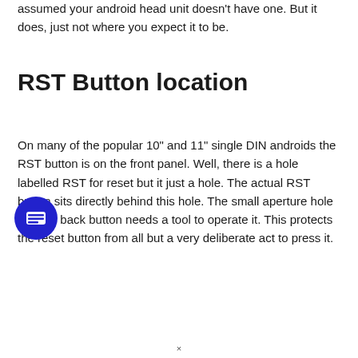assumed your android head unit doesn't have one. But it does, just not where you expect it to be.
RST Button location
On many of the popular 10" and 11" single DIN androids the RST button is on the front panel. Well, there is a hole labelled RST for reset but it just a hole. The actual RST button sits directly behind this hole. The small aperture hole and set back button needs a tool to operate it. This protects the reset button from all but a very deliberate act to press it.
[Figure (illustration): Blue circular chat/message icon button]
×